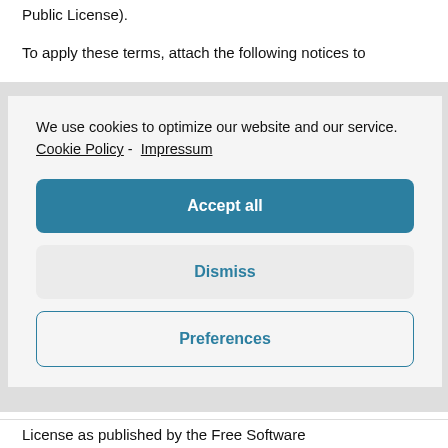Public License).
To apply these terms, attach the following notices to
[Figure (screenshot): Cookie consent dialog overlay with three buttons: Accept all (blue), Dismiss (gray), Preferences (outlined). Text reads: We use cookies to optimize our website and our service. Cookie Policy - Impressum]
License as published by the Free Software